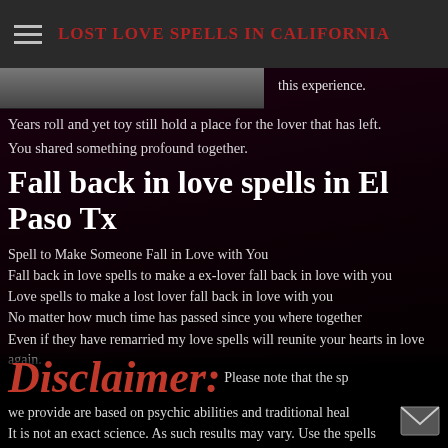LOST LOVE SPELLS IN CALIFORNIA
this experience.
Years roll and yet toy still hold a place for the lover that has left.
You shared something profound together.
Fall back in love spells in El Paso Tx
Spell to Make Someone Fall in Love with You
Fall back in love spells to make a ex-lover fall back in love with you
Love spells to make a lost lover fall back in love with you
No matter how much time has passed since you where together
Even if they have remarried my love spells will reunite your hearts in love again.
Disclaimer: Please note that the sp we provide are based on psychic abilities and traditional heal It is not an exact science. As such results may vary. Use the spells